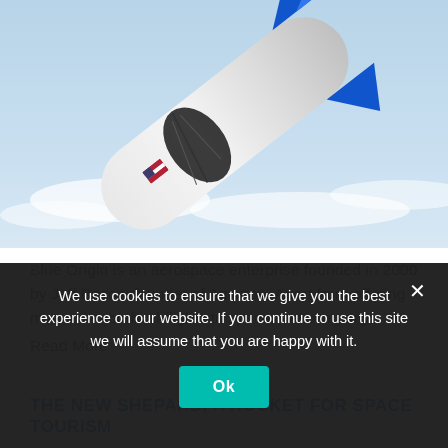[Figure (photo): Blue Origin rocket close-up with feather logo and American flag, flying above clouds against blue sky]
Blue Origin is an aerospace enterprise founded in 2000 by Jeff Bezos, founder of Amazon. Apart from offering manned suborbital flights to space, the company
Read More
THE NEW SHEPARD, A ROCKET FOR SPACE TOURISM
[Figure (photo): New Shepard rocket capsule on launch pad against dark blue sky with launch infrastructure]
We use cookies to ensure that we give you the best experience on our website. If you continue to use this site we will assume that you are happy with it.